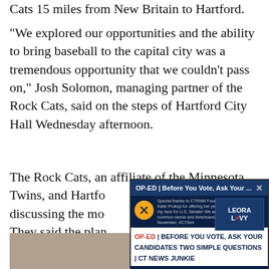Cats 15 miles from New Britain to Hartford.
“We explored our opportunities and the ability to bring baseball to the capital city was a tremendous opportunity that we couldn’t pass on,” Josh Solomon, managing partner of the Rock Cats, said on the steps of Hartford City Hall Wednesday afternoon.
The Rock Cats, an affiliate of the Minnesota Twins, and Hartfo discussing the mo They said the plan before opening da
[Figure (screenshot): An advertisement overlay showing 'OP-ED | Before You Vote, Ask Your ...' with a close button, a muted/audio icon button, small text about CTRNM Founder Katie Prokop endorsement for U.S. Senate, a dark blue box with 'LEORA L♥VY' logo, and footer text 'OP-ED | BEFORE YOU VOTE, ASK YOUR CANDIDATES TWO SIMPLE QUESTIONS | CT NEWS JUNKIE']
[Figure (photo): Partial photo visible at bottom left of page, showing a person, details obscured.]